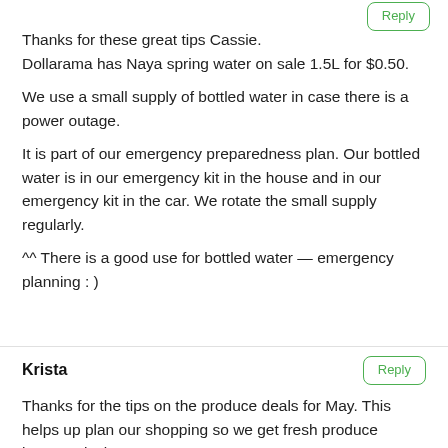Reply
Thanks for these great tips Cassie.
Dollarama has Naya spring water on sale 1.5L for $0.50.

We use a small supply of bottled water in case there is a power outage.
It is part of our emergency preparedness plan. Our bottled water is in our emergency kit in the house and in our emergency kit in the car. We rotate the small supply regularly.

^^ There is a good use for bottled water — emergency planning : )
Krista
Reply
Thanks for the tips on the produce deals for May. This helps up plan our shopping so we get fresh produce inexpensively.

Although I am craving a nice apple right now, but they are too expensive. Haha.